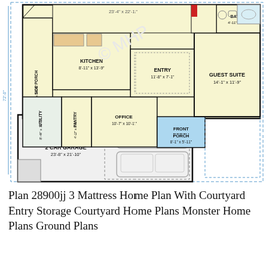[Figure (engineering-diagram): Architectural floor plan showing: Side Porch (5'8" x 14'-0"), Kitchen (8'-11" x 13'-9"), Entry (11'-8" x 7'-1"), Guest Suite (14'-1" x 11'-9"), Bath 1 (4'-11" x 6'-2"), Office (10'-7" x 10'-1"), Pantry (4'-2" x 6'-3"), Utility (8'-4" x 10'-1"), Front Porch (8'-1" x 5'-11"), 2 Car Garage (23'-8" x 21'-10"). Dimension 72'-0" shown on left side. Great room area labeled 23'-4" x 22'-1" at top.]
Plan 28900jj 3 Mattress Home Plan With Courtyard Entry Storage Courtyard Home Plans Monster Home Plans Ground Plans